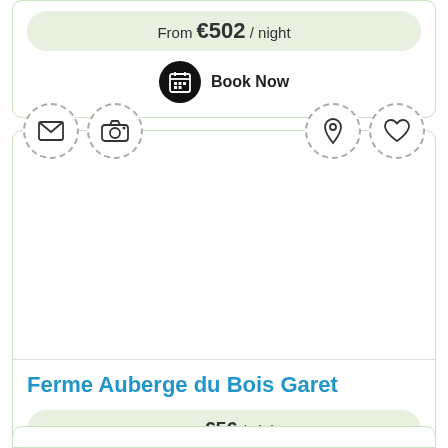From €502 / night
Book Now
[Figure (screenshot): Property listing card for Ferme Auberge du Bois Garet with icons (email, camera, location pin, heart), photo area, price, and action buttons]
Ferme Auberge du Bois Garet
From €56 / night
View Photos
Contact